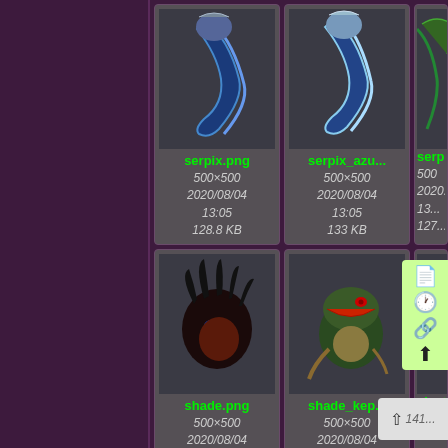[Figure (screenshot): File manager or media browser showing image thumbnails in a grid layout with dark purple background. Row 1: serpix.png (500×500, 2020/08/04 13:05, 128.8 KB), serpix_azu... (500×500, 2020/08/04 13:05, 133 KB), serpix_... (partial, 500, 2020..., 13, 127...). Row 2: shade.png (500×500, 2020/08/04 13:35, 118.9 KB), shade_kep... (500×500, 2020/08/04 13:35, 155.1 KB), shade_... (partial). Context menu visible on right side. Scroll-to-top button at bottom right showing 141...]